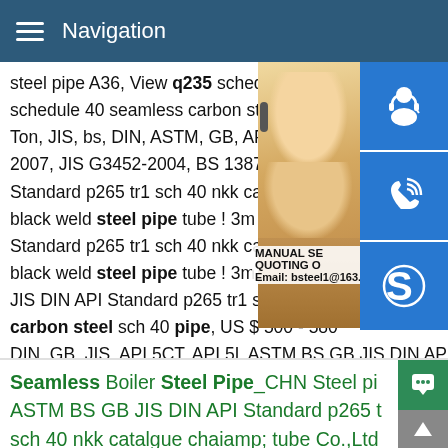Navigation
steel pipe A36, View q235 schedule 40 ste schedule 40 seamless carbon steel pipe A Ton, JIS, bs, DIN, ASTM, GB, API, JIS G3 2007, JIS G3452-2004, BS 1387 q235 AS Standard p265 tr1 sch 40 nkk catalgue ch black weld steel pipe tube ! 3m 4m 5 AST Standard p265 tr1 sch 40 nkk catalgue ch black weld steel pipe tube ! 3m 4m 5.8m JIS DIN API Standard p265 tr1 sch 40 nkk carbon steel sch 40 pipe, US $ 500 - 580 DIN, GB, JIS, API 5CT, API 5L ASTM BS GB JIS DIN API Standard p265 tr1 sch 40 nkk catalgue chai
[Figure (photo): Customer service representative woman with headset, with blue contact/phone/Skype icons on the right side, and MANUAL SERVICE / QUOTING / Email: bsteel1@163.com overlay text]
Seamless Boiler Steel Pipe_CHN Steel pi ASTM BS GB JIS DIN API Standard p265 t sch 40 nkk catalgue chaiamp; tube Co.,Ltd